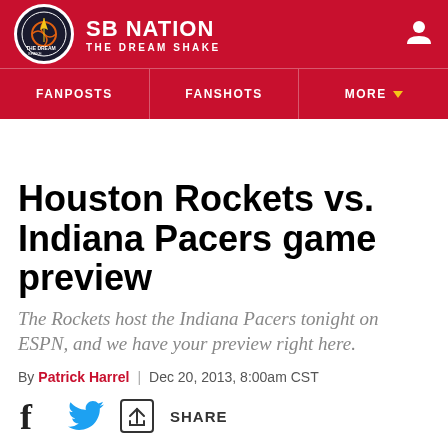[Figure (logo): SB Nation - The Dream Shake site header with logo, site name, and navigation]
SB NATION | THE DREAM SHAKE
Houston Rockets vs. Indiana Pacers game preview
The Rockets host the Indiana Pacers tonight on ESPN, and we have your preview right here.
By Patrick Harrel | Dec 20, 2013, 8:00am CST